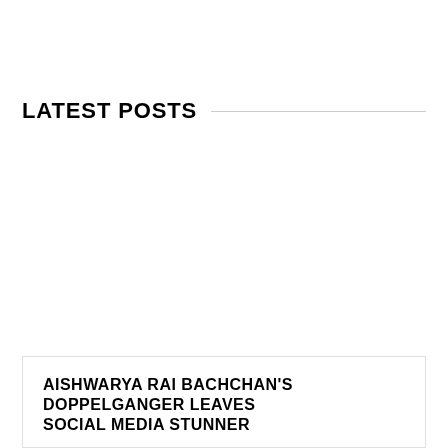LATEST POSTS
AISHWARYA RAI BACHCHAN'S DOPPELGANGER LEAVES SOCIAL MEDIA STUNNER